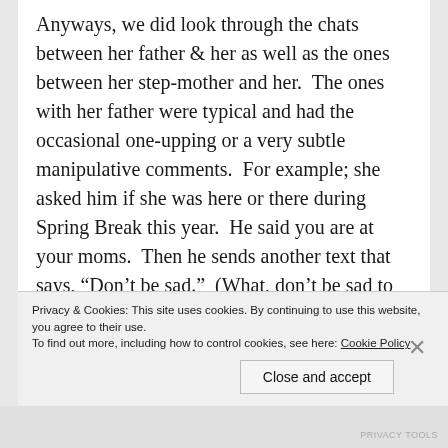Anyways, we did look through the chats between her father & her as well as the ones between her step-mother and her.  The ones with her father were typical and had the occasional one-upping or a very subtle manipulative comments.  For example; she asked him if she was here or there during Spring Break this year.  He said you are at your moms.  Then he sends another text that says, “Don’t be sad.”  (What, don’t be sad to be away from him or here with me?)  She replies, “I wish I could be with both of you for Spring Break, but I get to see you next year.”
Privacy & Cookies: This site uses cookies. By continuing to use this website, you agree to their use.
To find out more, including how to control cookies, see here: Cookie Policy
Close and accept